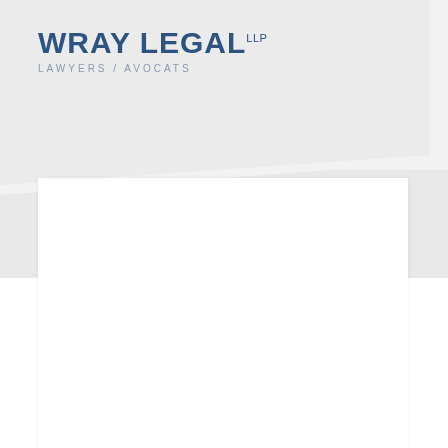[Figure (logo): Wray Legal LLP logo with text WRAY LEGAL LLP in dark blue and LAWYERS / AVOCATS subtitle in grey]